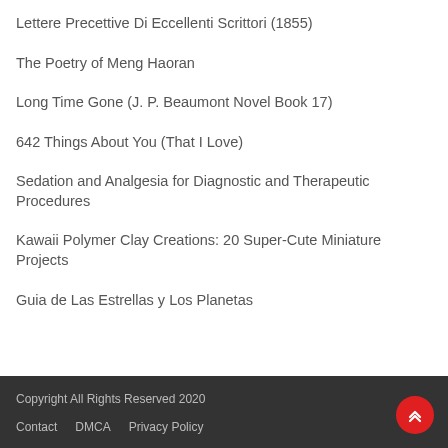Lettere Precettive Di Eccellenti Scrittori (1855)
The Poetry of Meng Haoran
Long Time Gone (J. P. Beaumont Novel Book 17)
642 Things About You (That I Love)
Sedation and Analgesia for Diagnostic and Therapeutic Procedures
Kawaii Polymer Clay Creations: 20 Super-Cute Miniature Projects
Guia de Las Estrellas y Los Planetas
Copyright All Rights Reserved 2020
Contact   DMCA   Privacy Policy